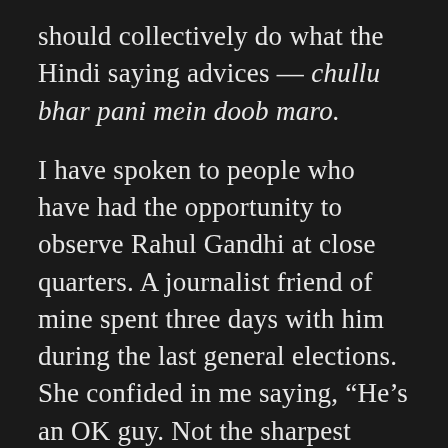should collectively do what the Hindi saying advices — chullu bhar pani mein doob maro.
I have spoken to people who have had the opportunity to observe Rahul Gandhi at close quarters. A journalist friend of mine spent three days with him during the last general elections. She confided in me saying, “He’s an OK guy. Not the sharpest knife in the drawer. He’s definitely slow on the uptake, to be honest. Despite being born with a silver spoon in his mouth, he has little to show for himself. He does not have the intellectual horsepower to manage a road-side restaurant. He’d fail at that. Yet he may get to follow the footsteps of his father, his grandmother, and his great